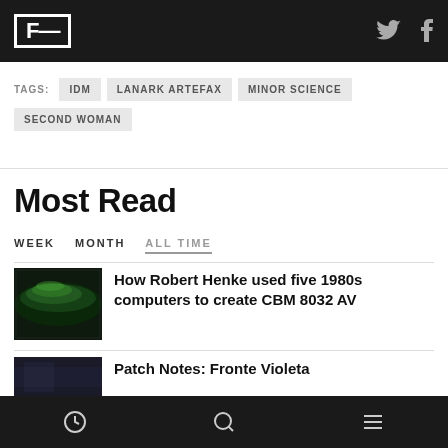F (logo) | Twitter | Facebook
TAGS: IDM  LANARK ARTEFAX  MINOR SCIENCE  SECOND WOMAN
Most Read
WEEK  MONTH  ALL TIME
How Robert Henke used five 1980s computers to create CBM 8032 AV
Patch Notes: Fronte Violeta
Clock icon | Search icon | Menu icon